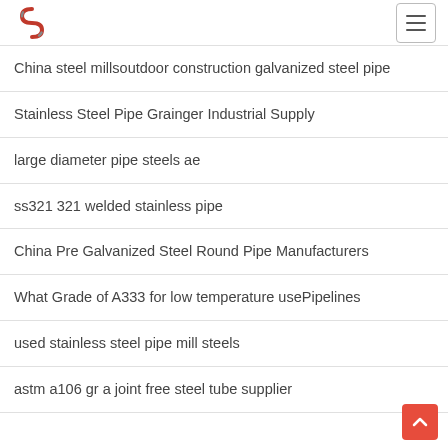Logo and navigation menu
China steel millsoutdoor construction galvanized steel pipe
Stainless Steel Pipe Grainger Industrial Supply
large diameter pipe steels ae
ss321 321 welded stainless pipe
China Pre Galvanized Steel Round Pipe Manufacturers
What Grade of A333 for low temperature usePipelines
used stainless steel pipe mill steels
astm a106 gr a joint free steel tube supplier